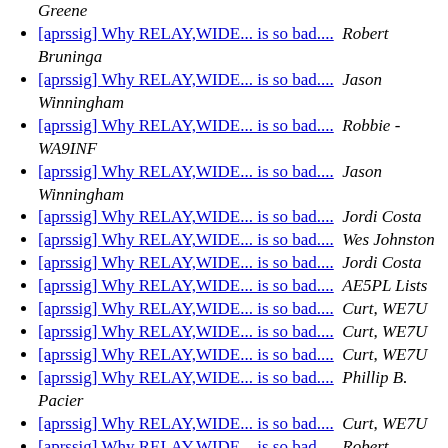Greene
[aprssig] Why RELAY,WIDE... is so bad....  Robert Bruninga
[aprssig] Why RELAY,WIDE... is so bad....  Jason Winningham
[aprssig] Why RELAY,WIDE... is so bad....  Robbie - WA9INF
[aprssig] Why RELAY,WIDE... is so bad....  Jason Winningham
[aprssig] Why RELAY,WIDE... is so bad....  Jordi Costa
[aprssig] Why RELAY,WIDE... is so bad....  Wes Johnston
[aprssig] Why RELAY,WIDE... is so bad....  Jordi Costa
[aprssig] Why RELAY,WIDE... is so bad....  AE5PL Lists
[aprssig] Why RELAY,WIDE... is so bad....  Curt, WE7U
[aprssig] Why RELAY,WIDE... is so bad....  Curt, WE7U
[aprssig] Why RELAY,WIDE... is so bad....  Curt, WE7U
[aprssig] Why RELAY,WIDE... is so bad....  Phillip B. Pacier
[aprssig] Why RELAY,WIDE... is so bad....  Curt, WE7U
[aprssig] Why RELAY,WIDE... is so bad....  Robert Bruninga
[aprssig] Why RELAY,WIDE... is so bad....  Curt, WE7U
[aprssig] Why RELAY,WIDE... is so bad....  Phillip B. Pacier
[aprssig] Why RELAY,WIDE... is so bad....  Curt, WE7U
[aprssig] Why RELAY,WIDE... is so bad....  Phillip B.